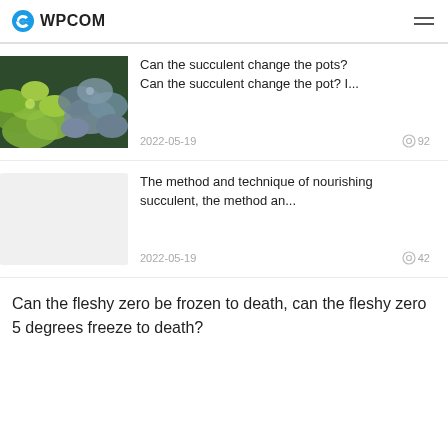WPCOM
Can the succulent change the pots?
Can the succulent change the pot? I...
2022-05-19  92
The method and technique of nourishing succulent, the method an...
2022-05-19  42
Can the fleshy zero be frozen to death, can the fleshy zero 5 degrees freeze to death?